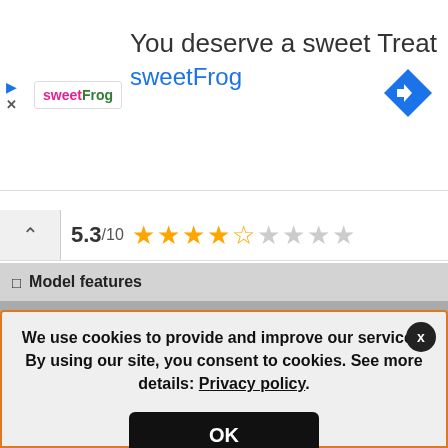[Figure (screenshot): Advertisement banner for sweetFrog with navigation icon, headline 'You deserve a sweet Treat', and brand name 'sweetFrog' in colorful text]
5.3/10 ★★★★½★★★★
▣ Model features
|  | Asus Zenfone Max Pro (M2) |
| --- | --- |
| Model(+) | Zenfone Max Pro M2 (ZB631KL 128GB) |
| Other model names | Asus Zenfone Max Pro M2 ZB631KL (6GB |
We use cookies to provide and improve our services. By using our site, you consent to cookies. See more details: Privacy policy.
OK